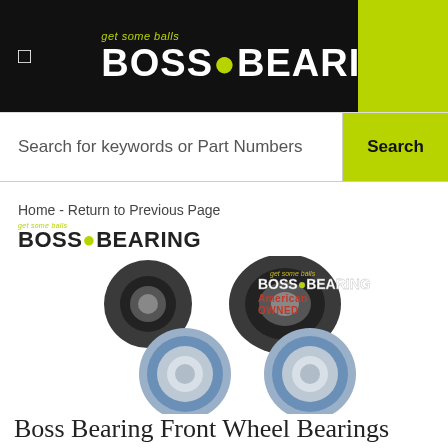[Figure (logo): Boss Bearing logo with tagline 'get some balls' on black background with green accent block]
Search for keywords or Part Numbers
Search
Home - Return to Previous Page
[Figure (logo): Boss Bearing small logo with tagline 'get some balls']
[Figure (photo): Product photo showing two wheel bearing seals (black O-rings) and two blue-shielded wheel bearings]
Boss Bearing Front Wheel Bearings